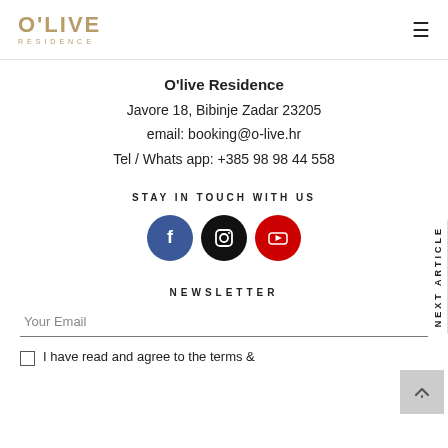O'LIVE RESIDENCE
O'live Residence
Javore 18, Bibinje Zadar 23205
email: booking@o-live.hr
Tel / Whats app: +385 98 98 44 558
STAY IN TOUCH WITH US
[Figure (infographic): Three social media icons: Facebook (blue circle with f), Instagram (black circle with camera icon), YouTube (red circle with play button)]
NEWSLETTER
Your Email
I have read and agree to the terms &